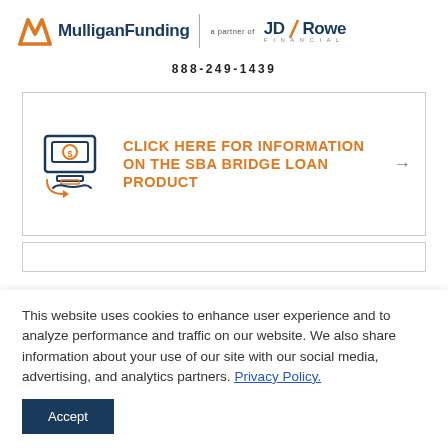[Figure (logo): Mulligan Funding logo with orange M icon and dark blue text, a divider, then 'a partner of JD Rowe Financial' logo]
888-249-1439
CLICK HERE FOR INFORMATION ON THE SBA BRIDGE LOAN PRODUCT
This website uses cookies to enhance user experience and to analyze performance and traffic on our website. We also share information about your use of our site with our social media, advertising, and analytics partners. Privacy Policy.
Accept